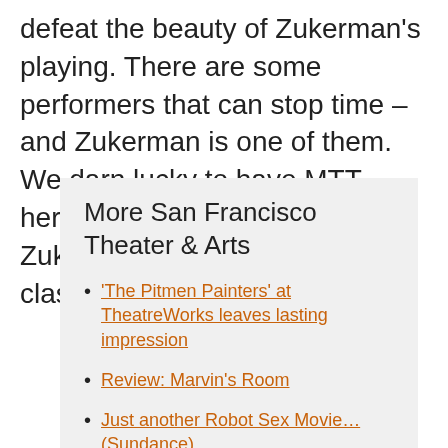defeat the beauty of Zukerman's playing. There are some performers that can stop time – and Zukerman is one of them.  We darn lucky to have MTT here, but Ottawa, with Pinchas Zukerman, has its place in the classical music firmament.
More San Francisco Theater & Arts
'The Pitmen Painters' at TheatreWorks leaves lasting impression
Review: Marvin's Room
Just another Robot Sex Movie… (Sundance)